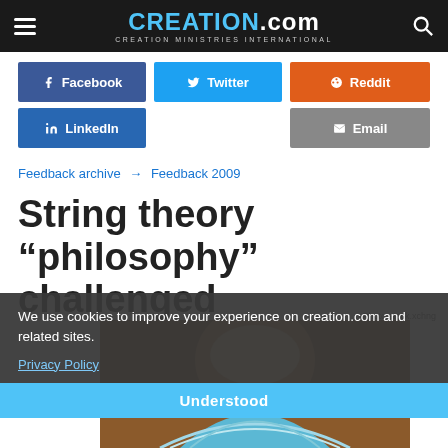CREATION.com — CREATION MINISTRIES INTERNATIONAL
Facebook
Twitter
Reddit
LinkedIn
Email
Feedback archive → Feedback 2009
String theory "philosophy" challenged
Photo stock.xchng
[Figure (photo): Close-up photo of a person with blue cloth/turban, largely obscured by cookie consent overlay]
We use cookies to improve your experience on creation.com and related sites.
Privacy Policy
Understood